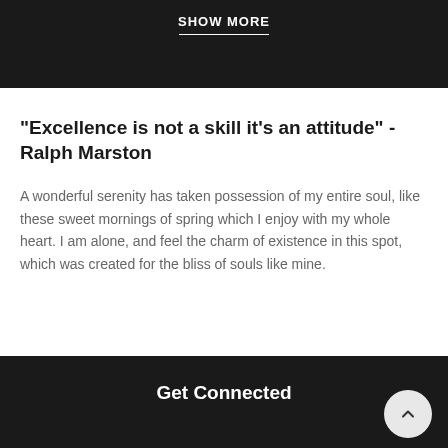SHOW MORE
"Excellence is not a skill it's an attitude" - Ralph Marston
A wonderful serenity has taken possession of my entire soul, like these sweet mornings of spring which I enjoy with my whole heart. I am alone, and feel the charm of existence in this spot, which was created for the bliss of souls like mine.
Get Connected